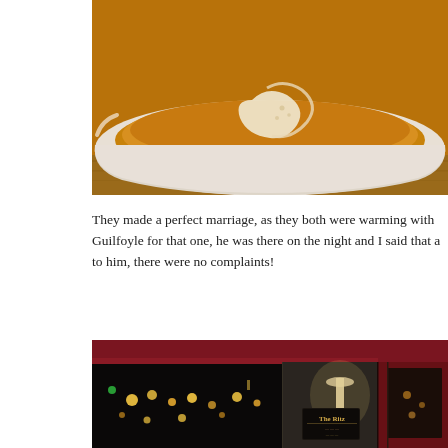[Figure (photo): Close-up photo of a white ceramic bowl containing golden-yellow soup with a white cream swirl garnish on top, placed on a wooden surface.]
They made a perfect marriage, as they both were warming with Guilfoyle for that one, he was there on the night and I said that a to him, there were no complaints!
[Figure (photo): Night-time exterior photo of a restaurant called 'The Ritz' with dark red awning/facade, large glass windows reflecting city lights, and a wall-mounted lamp illuminating the entrance area.]